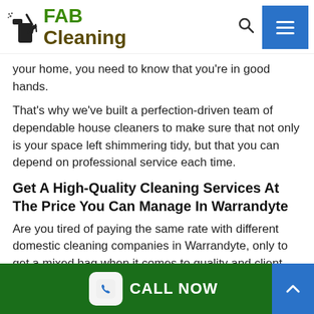FAB Cleaning
your home, you need to know that you're in good hands.
That's why we've built a perfection-driven team of dependable house cleaners to make sure that not only is your space left shimmering tidy, but that you can depend on professional service each time.
Get A High-Quality Cleaning Services At The Price You Can Manage In Warrandyte
Are you tired of paying the same rate with different domestic cleaning companies in Warrandyte, only to get a mixed bag when it comes to quality and client service?
CALL NOW